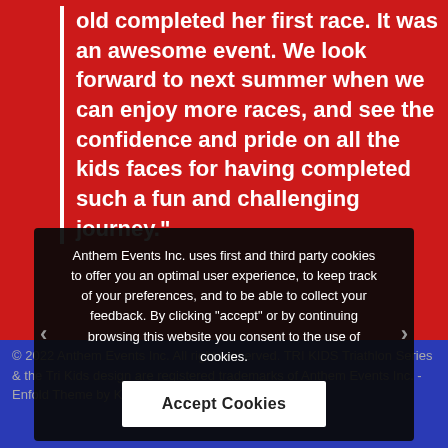old completed her first race. It was an awesome event. We look forward to next summer when we can enjoy more races, and see the confidence and pride on all the kids faces for having completed such a fun and challenging journey."
Anthem Events Inc. uses first and third party cookies to offer you an optimal user experience, to keep track of your preferences, and to be able to collect your feedback. By clicking "accept" or by continuing browsing this website you consent to the use of cookies.
© 2022 Anthem Events Inc. All rights reserved. TRI KIDS Triathlon Series & the Tri Kids design are registered trademarks of Anthem Events Inc. - Enfold Theme by Kriesi